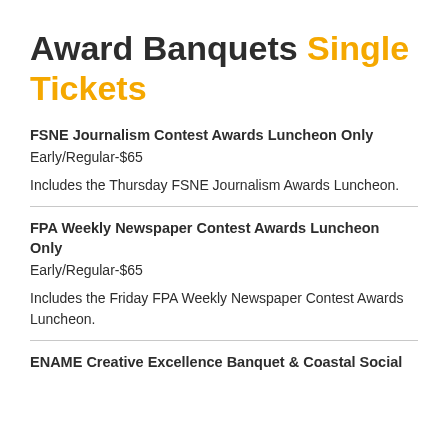Award Banquets Single Tickets
FSNE Journalism Contest Awards Luncheon Only
Early/Regular-$65
Includes the Thursday FSNE Journalism Awards Luncheon.
FPA Weekly Newspaper Contest Awards Luncheon Only
Early/Regular-$65
Includes the Friday FPA Weekly Newspaper Contest Awards Luncheon.
ENAME Creative Excellence Banquet & Coastal Social